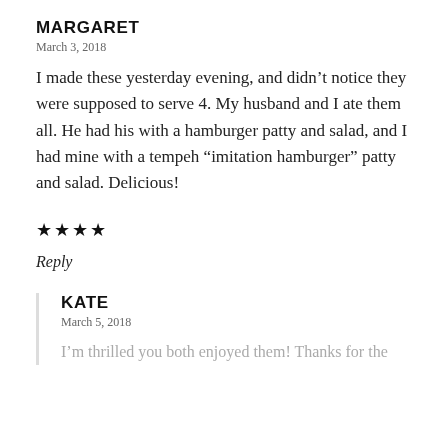MARGARET
March 3, 2018
I made these yesterday evening, and didn’t notice they were supposed to serve 4. My husband and I ate them all. He had his with a hamburger patty and salad, and I had mine with a tempeh “imitation hamburger” patty and salad. Delicious!
★★★★
Reply
KATE
March 5, 2018
I’m thrilled you both enjoyed them! Thanks for the